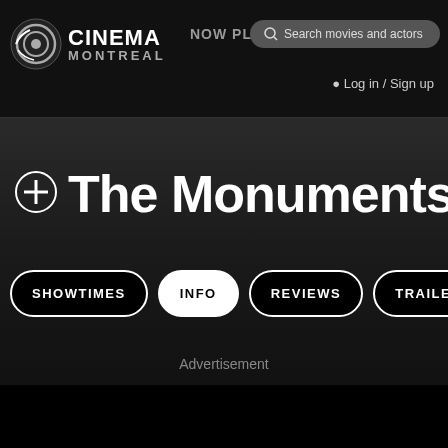Cinema Montreal — NOW PLAYING
Search movies and actors
Log in / Sign up
The Monuments Men
SHOWTIMES | INFO | REVIEWS | TRAILER
Advertisement